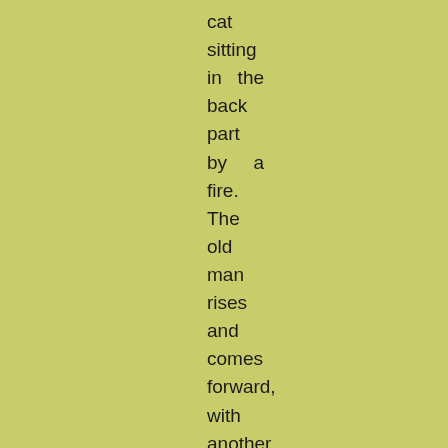cat sitting in  the back part by    a fire. The old man rises and comes forward, with another blot-headed candle